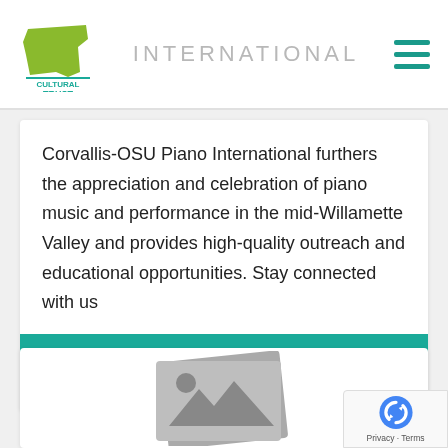[Figure (logo): Oregon Cultural Trust logo with green state silhouette and teal/green text]
INTERNATIONAL
Corvallis-OSU Piano International furthers the appreciation and celebration of piano music and performance in the mid-Willamette Valley and provides high-quality outreach and educational opportunities. Stay connected with us
VIEW NONPROFIT
[Figure (photo): Placeholder image icon showing two overlapping image frames with a mountain/landscape silhouette graphic in grey]